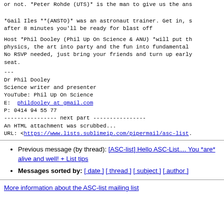or not. *Peter Rohde (UTS)* is the man to give us the ans
*Gail Iles **(ANSTO)* was an astronaut trainer. Get in, s after 8 minutes you'll be ready for blast off
Host *Phil Dooley (Phil Up On Science & ANU) *will put th physics, the art into party and the fun into fundamental No RSVP needed, just bring your friends and turn up early seat.
---
Dr Phil Dooley
Science writer and presenter
YouTube: Phil Up On Science
E:  phildooley at gmail.com
P: 0414 94 55 77
---------------- next part ----------------
An HTML attachment was scrubbed...
URL: <https://www.lists.sublimeip.com/pipermail/asc-lista
Previous message (by thread): [ASC-list] Hello ASC-List.... You *are* alive and well! + List tips
Messages sorted by: [ date ] [ thread ] [ subject ] [ author ]
More information about the ASC-list mailing list